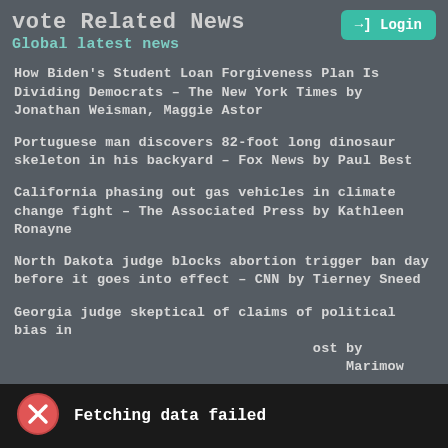vote Related News
Global latest news
How Biden's Student Loan Forgiveness Plan Is Dividing Democrats – The New York Times by Jonathan Weisman, Maggie Astor
Portuguese man discovers 82-foot long dinosaur skeleton in his backyard – Fox News by Paul Best
California phasing out gas vehicles in climate change fight – The Associated Press by Kathleen Ronayne
North Dakota judge blocks abortion trigger ban day before it goes into effect – CNN by Tierney Sneed
Georgia judge skeptical of claims of political bias in ... ost by ... Marimow
Fetching data failed